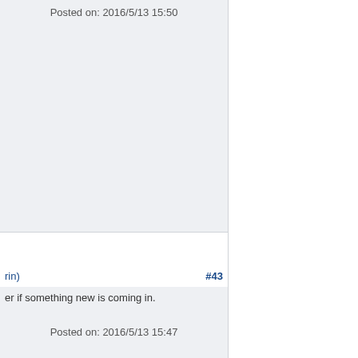Posted on: 2016/5/13 15:50
rin)
#43
er if something new is coming in.
Posted on: 2016/5/13 15:47